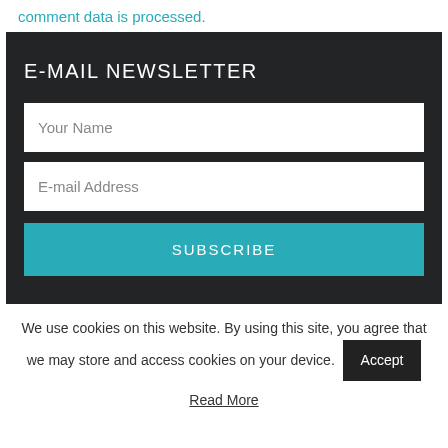comment data is processed.
E-MAIL NEWSLETTER
Your Name
E-mail Address
SUBSCRIBE
We use cookies on this website. By using this site, you agree that we may store and access cookies on your device.
Accept
Read More